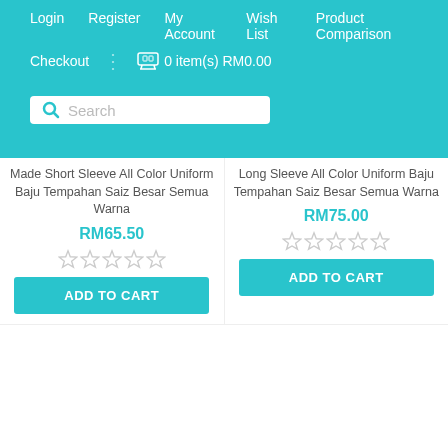Login  Register  My Account  Wish List  Product Comparison  Checkout  | 🛒 0 item(s) RM0.00
Search
Made Short Sleeve All Color Uniform Baju Tempahan Saiz Besar Semua Warna
RM65.50
Long Sleeve All Color Uniform Baju Tempahan Saiz Besar Semua Warna
RM75.00
ADD TO CART
ADD TO CART
[Figure (illustration): Line drawing illustration of a short sleeve uniform shirt]
hD School Uniform
[Figure (illustration): Faded illustration of an officer uniform with label: OFFICER / PEGAWAI 03 KRS Lelaki & Wanita]